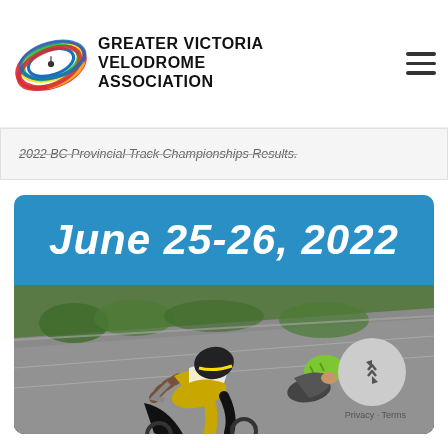GREATER VICTORIA VELODROME ASSOCIATION
2022 BC Provincial Track Championships Results.
[Figure (photo): Promotional banner for the 2022 BC Provincial Track Championships showing the date June 25-26, 2022 in bold white text on a blue background, overlaid on a photograph of cyclists racing on a velodrome track. Two cyclists in aerodynamic gear lean into the banked track, one wearing a yellow/black skinsuit with a patterned sleeve and the other wearing a green helmet.]